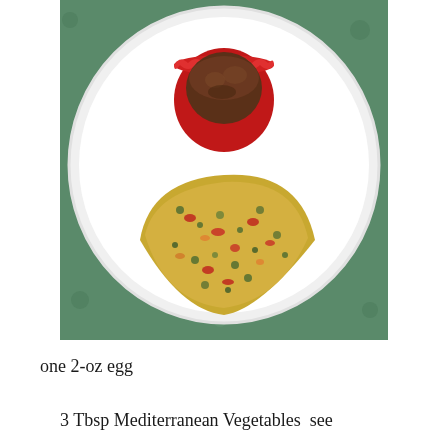[Figure (photo): A white plate on a teal/green floral tablecloth, holding a folded egg omelette with visible red pepper, green herbs, and cheese filling, plus a red silicone cupcake mold containing a baked muffin or brownie.]
one 2-oz egg
3 Tbsp Mediterranean Vegetables  see